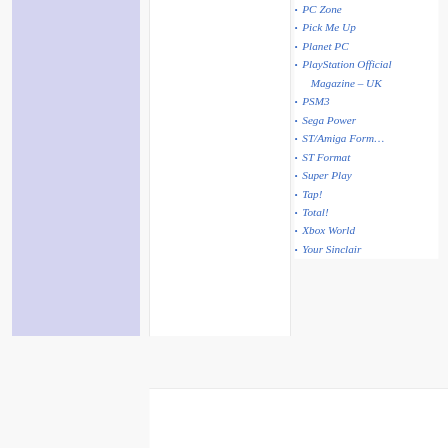PC Zone
Pick Me Up
Planet PC
PlayStation Official Magazine – UK
PSM3
Sega Power
ST/Amiga Format
ST Format
Super Play
Tap!
Total!
Xbox World
Your Sinclair